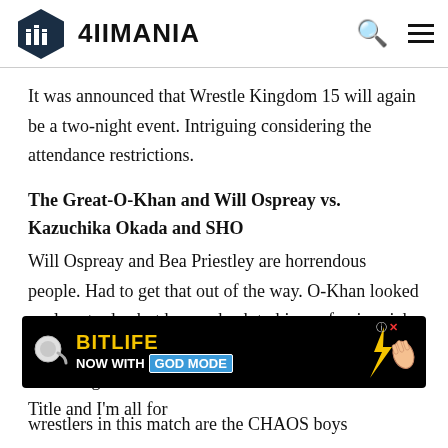4IIMANIA
It was announced that Wrestle Kingdom 15 will again be a two-night event. Intriguing considering the attendance restrictions.
The Great-O-Khan and Will Ospreay vs. Kazuchika Okada and SHO
Will Ospreay and Bea Priestley are horrendous people. Had to get that out of the way. O-Khan looked cool yesterday but he was back to his goofy gimmick here and looked like a joke. The only positive about Bea being around is that she came out with the SWA Title and I'm all for
[Figure (infographic): BitLife advertisement banner: 'Now with GOD MODE' with sperm mascot and pointing hand graphic on black background]
wrestlers in this match are the CHAOS boys